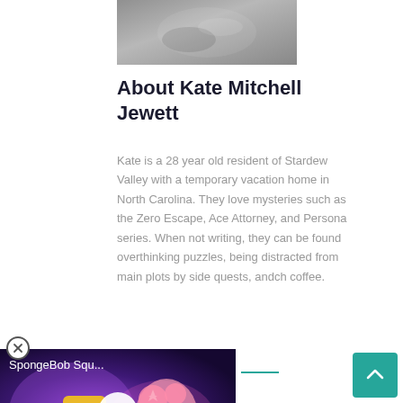[Figure (photo): Grayscale photo partially visible at the top]
About Kate Mitchell Jewett
Kate is a 28 year old resident of Stardew Valley with a temporary vacation home in North Carolina. They love mysteries such as the Zero Escape, Ace Attorney, and Persona series. When not writing, they can be found overthinking puzzles, being distracted from main plots by side quests, and [mu]ch coffee.
[Figure (screenshot): SpongeBob SquarePants video thumbnail overlay at bottom left with play button]